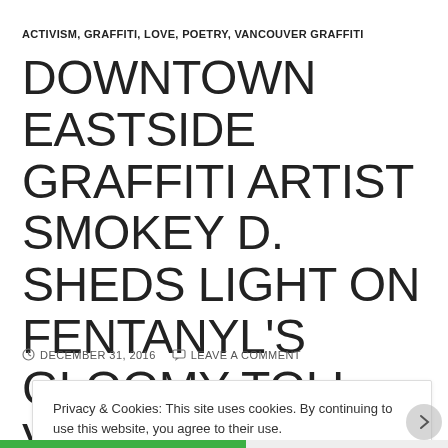ACTIVISM, GRAFFITI, LOVE, POETRY, VANCOUVER GRAFFITI
DOWNTOWN EASTSIDE GRAFFITI ARTIST SMOKEY D. SHEDS LIGHT ON FENTANYL’S GLOOMY TOLL VIA VANCOUVERSUN
DECEMBER 31, 2016    LEAVE A COMMENT
Privacy & Cookies: This site uses cookies. By continuing to use this website, you agree to their use. To find out more, including how to control cookies, see here: Cookie Policy
Close and accept